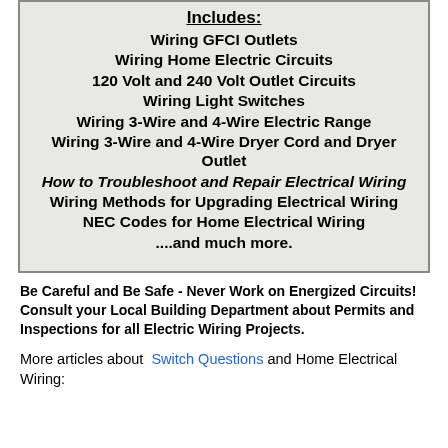Includes: Wiring GFCI Outlets, Wiring Home Electric Circuits, 120 Volt and 240 Volt Outlet Circuits, Wiring Light Switches, Wiring 3-Wire and 4-Wire Electric Range, Wiring 3-Wire and 4-Wire Dryer Cord and Dryer Outlet, How to Troubleshoot and Repair Electrical Wiring, Wiring Methods for Upgrading Electrical Wiring, NEC Codes for Home Electrical Wiring, ....and much more.
Be Careful and Be Safe - Never Work on Energized Circuits! Consult your Local Building Department about Permits and Inspections for all Electric Wiring Projects.
More articles about Switch Questions and Home Electrical Wiring: